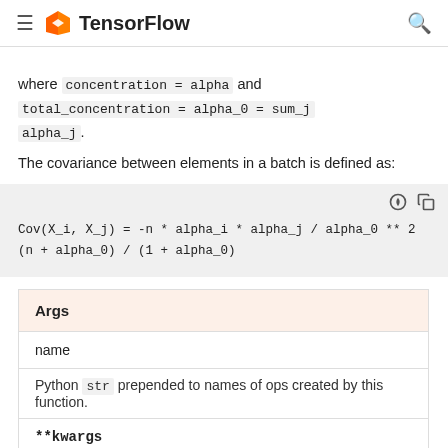TensorFlow
where concentration = alpha and total_concentration = alpha_0 = sum_j alpha_j.
The covariance between elements in a batch is defined as:
| Args |
| --- |
| name |
| Python str prepended to names of ops created by this function. |
| **kwargs |